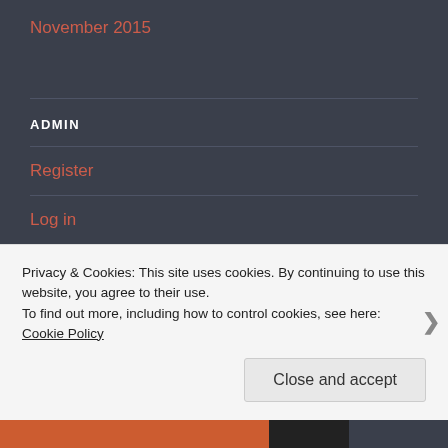November 2015
ADMIN
Register
Log in
Entries feed
Comments feed
Privacy & Cookies: This site uses cookies. By continuing to use this website, you agree to their use.
To find out more, including how to control cookies, see here: Cookie Policy
Close and accept